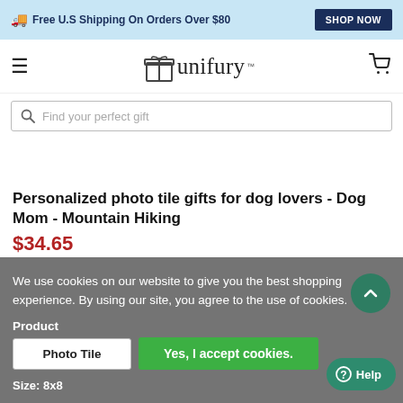🚚 Free U.S Shipping On Orders Over $80  SHOP NOW
[Figure (logo): Unifury logo with gift box icon and cart icon in header]
Find your perfect gift
Personalized photo tile gifts for dog lovers - Dog Mom - Mountain Hiking
$34.65
We use cookies on our website to give you the best shopping experience. By using our site, you agree to the use of cookies.
Product
| Photo Tile |
Size: 8x8